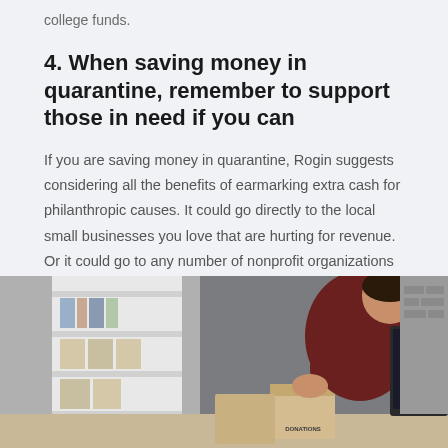college funds.
4. When saving money in quarantine, remember to support those in need if you can
If you are saving money in quarantine, Rogin suggests considering all the benefits of earmarking extra cash for philanthropic causes. It could go directly to the local small businesses you love that are hurting for revenue. Or it could go to any number of nonprofit organizations that are doing good in the world.
[Figure (photo): A young man in a dark red t-shirt leaning over a desk with boxes, including one labeled 'DONATIONS', in what appears to be a storage or office room with shelves in the background.]